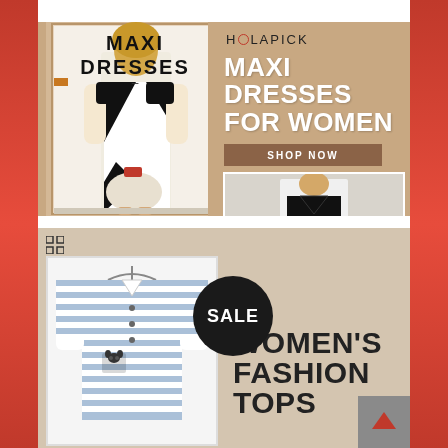[Figure (advertisement): Holapick advertisement banner for Maxi Dresses for Women. Left side shows a model wearing a black and white patterned maxi dress. Right side has tan/kraft background with Holapick logo, large white text 'MAXI DRESSES FOR WOMEN', a brown 'SHOP NOW' button, and a second photo of a model in a black and white floral maxi dress.]
[Figure (advertisement): Advertisement banner for Women's Fashion Tops Sale. Beige background with a white-boxed photo of a striped shirt with cat print, a black circular SALE badge, and bold black text 'WOMEN'S FASHION TOPS'.]